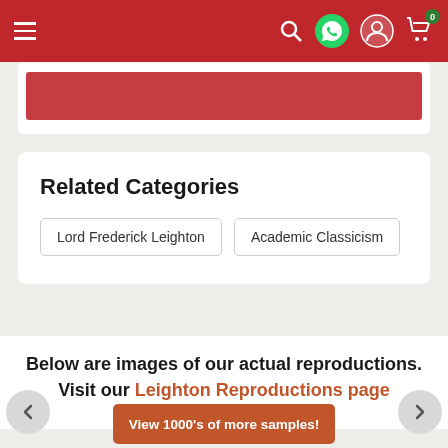Navigation bar with hamburger menu, search, whatsapp, user, and cart icons
[Figure (screenshot): Partially visible artwork card with red banner at top]
Related Categories
Lord Frederick Leighton
Academic Classicism
Below are images of our actual reproductions. Visit our Leighton Reproductions page for more samples!
[Figure (illustration): Carousel left arrow navigation button]
[Figure (illustration): Carousel right arrow navigation button]
View 1000's of more samples!